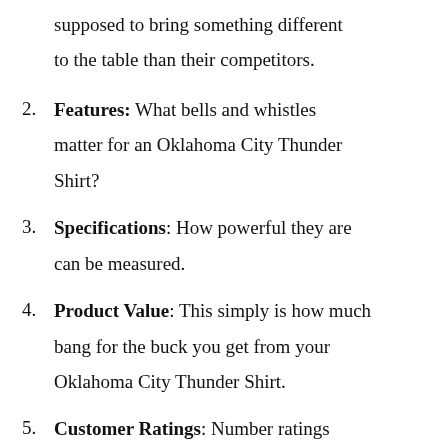supposed to bring something different to the table than their competitors.
Features: What bells and whistles matter for an Oklahoma City Thunder Shirt?
Specifications: How powerful they are can be measured.
Product Value: This simply is how much bang for the buck you get from your Oklahoma City Thunder Shirt.
Customer Ratings: Number ratings grade Oklahoma City Thunder Shirt